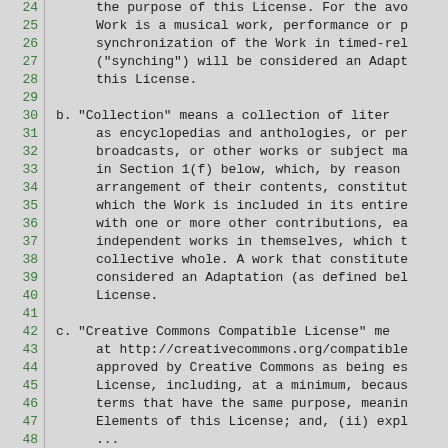24   the purpose of this License. For the avo
25   Work is a musical work, performance or p
26   synchronization of the Work in timed-rel
27   ("synching") will be considered an Adapt
28   this License.
29
30 b. "Collection" means a collection of liter
31   as encyclopedias and anthologies, or per
32   broadcasts, or other works or subject ma
33   in Section 1(f) below, which, by reason
34   arrangement of their contents, constitut
35   which the Work is included in its entire
36   with one or more other contributions, ea
37   independent works in themselves, which t
38   collective whole. A work that constitute
39   considered an Adaptation (as defined bel
40   License.
41
42 c. "Creative Commons Compatible License" me
43   at http://creativecommons.org/compatible
44   approved by Creative Commons as being es
45   License, including, at a minimum, becaus
46   terms that have the same purpose, meanin
47   Elements of this License; and, (ii) expl
48   ...